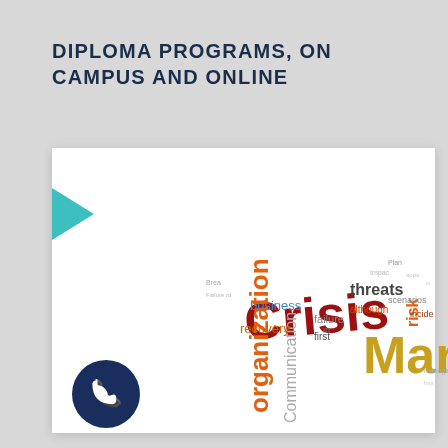DIPLOMA PROGRAMS, ON CAMPUS AND ONLINE
[Figure (illustration): Word cloud featuring crisis management related terms including 'Crisis', 'organization', 'Communication', 'threats', 'risk', 'Mar', 'business', 'recovery', 'failure', 'scenarios', 'although' in various colors (dark red, orange, gold, teal) and sizes]
[Figure (illustration): Teal right-pointing arrow on left side of white card]
[Figure (illustration): Dark navy blue circle with white telephone/phone icon]